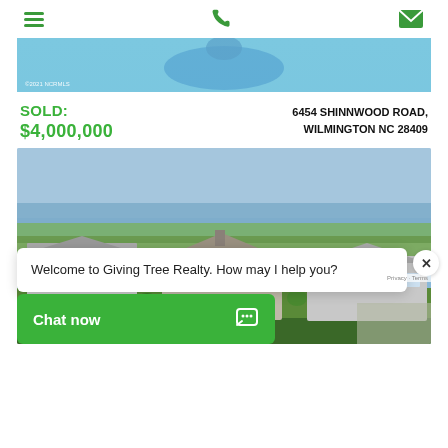Navigation header with hamburger menu, phone icon, and mail icon
[Figure (photo): Aerial/overhead photo of a swimming pool with blue water and stone surround, partially visible at top of page. Watermark text '©2021 NCRMLS' visible in lower left.]
SOLD: $4,000,000
6454 SHINNWOOD ROAD, WILMINGTON NC 28409
[Figure (photo): Aerial photo of coastal residential neighborhood with large homes and marsh/water views. Three large houses visible in foreground, green marshland and water in background.]
Welcome to Giving Tree Realty. How may I help you?
Chat now